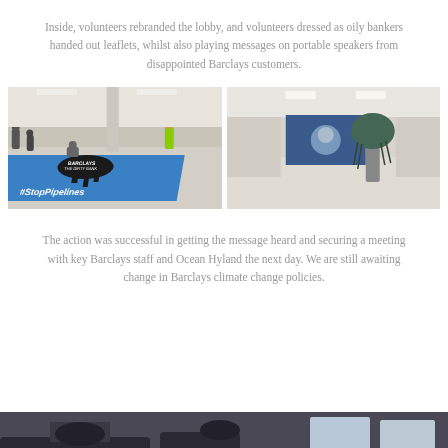Inside, volunteers rebranded the lobby, and volunteers dressed as oily bankers handed out leaflets, whilst also playing messages on portable speakers from disappointed Barclays customers.
[Figure (photo): Left photo: Volunteers inside a Barclays bank lobby with a large blue floor banner reading '#StopPipelines' and 'Barclays The Dirty Bank' with an oil spill graphic. People stand around watching.]
[Figure (photo): Right photo: Inside a bank lobby, a person dressed as an 'oily banker' stands holding a dark umbrella/costume, with other people and a large screen visible in the background.]
The action was successful in getting the message heard and securing a meeting with key Barclays staff and Ocean Hyland the next day. We are still awaiting change in Barclays climate change policies.
[Figure (photo): Partial bottom photo showing a dark interior scene, partially cropped.]